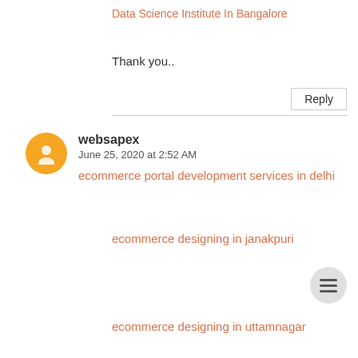Data Science Institute In Bangalore
Thank you..
Reply
websapex
June 25, 2020 at 2:52 AM
ecommerce portal development services in delhi
ecommerce designing in janakpuri
ecommerce designing in uttamnagar